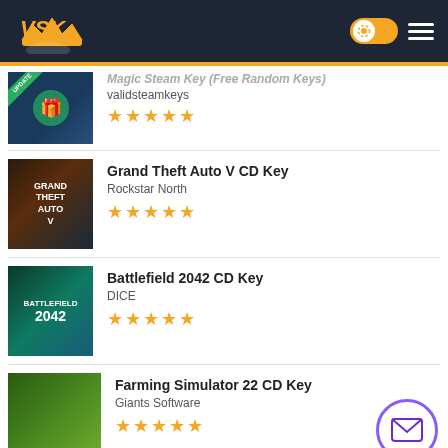VSK - gaming key store header with logo and navigation
Magic Steam Key (Free Random Keys) — validsteamkeys — 5 stars
Grand Theft Auto V CD Key — Rockstar North — 5 stars
Battlefield 2042 CD Key — DICE — 5 stars
Farming Simulator 22 CD Key — Giants Software — 5 stars
Rust CD Key